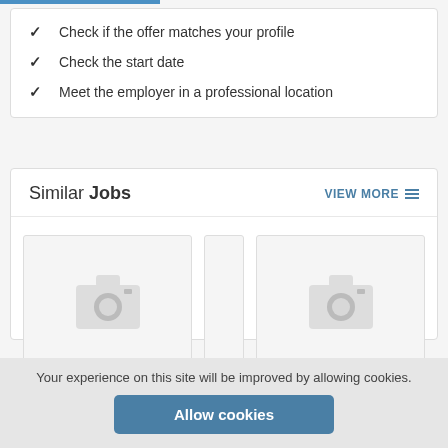✓ Check if the offer matches your profile
✓ Check the start date
✓ Meet the employer in a professional location
Similar Jobs
[Figure (screenshot): Two job listing placeholder cards with camera icon images indicating no image loaded]
Your experience on this site will be improved by allowing cookies.
Allow cookies